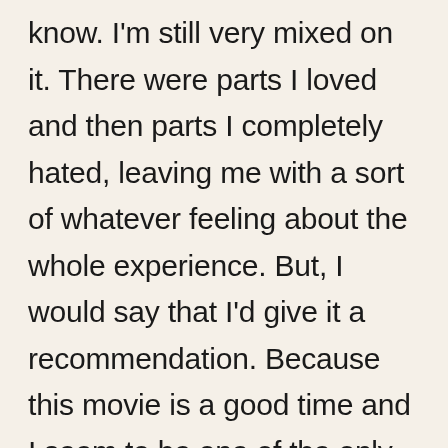know. I'm still very mixed on it. There were parts I loved and then parts I completely hated, leaving me with a sort of whatever feeling about the whole experience. But, I would say that I'd give it a recommendation. Because this movie is a good time and I seem to be one of the only people that had problems with it. I'd hate to be the one person standing in the way of other's happiness. And, honestly, there's part of me that thinks I might be a bit too